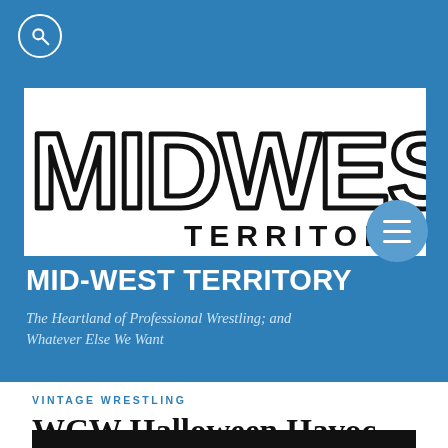Mid-West Territory website header with search icon
[Figure (logo): MID-WEST TERRITORY logo with large bold outlined letters MIDWEST and TERRITORY below, on white background]
MID-WEST TERRITORY
The Heartland of Professional Wrestling; and Whatever Else We Want
VINTAGE WRESTLING
WCW Halloween Havoc 1990
[Figure (photo): Black image strip at bottom of page, partial view of article image]